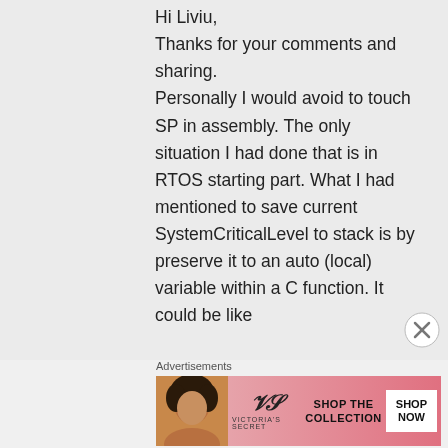Hi Liviu,
Thanks for your comments and sharing.
Personally I would avoid to touch SP in assembly. The only situation I had done that is in RTOS starting part. What I had mentioned to save current SystemCriticalLevel to stack is by preserve it to an auto (local) variable within a C function. It could be like
Advertisements
[Figure (illustration): Victoria's Secret advertisement banner with a woman's photo on the left, Victoria's Secret logo in the center, and 'SHOP THE COLLECTION' text with a 'SHOP NOW' button on the right, pink gradient background.]